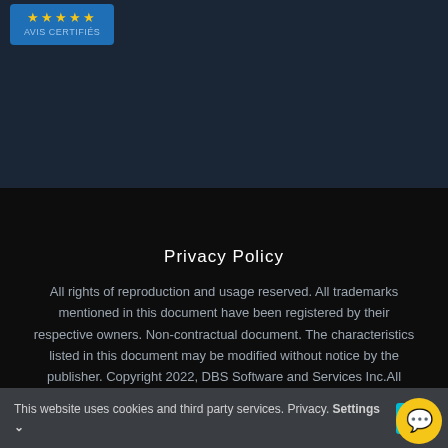[Figure (screenshot): Top dark blue section with a blue rating badge showing gold stars and small text]
Privacy Policy
All rights of reproduction and usage reserved. All trademarks mentioned in this document have been registered by their respective owners. Non-contractual document. The characteristics listed in this document may be modified without notice by the publisher. Copyright 2022, DBS Software and Services Inc.All Rights Reserved.
This website uses cookies and third party services. Privacy. Settings ⌄